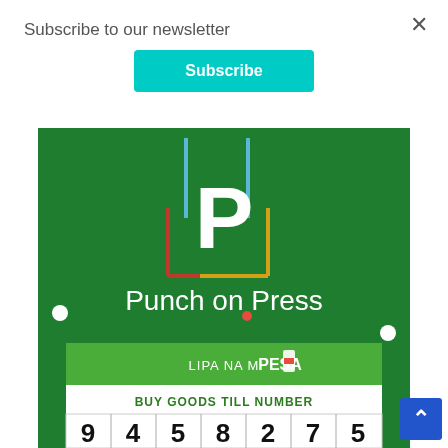Subscribe to our newsletter
Subscribe
[Figure (logo): Punch on Press logo on green background with colorful bracket design and M-PESA payment info showing BUY GOODS TILL NUMBER 9 4 5 8 2 7 5]